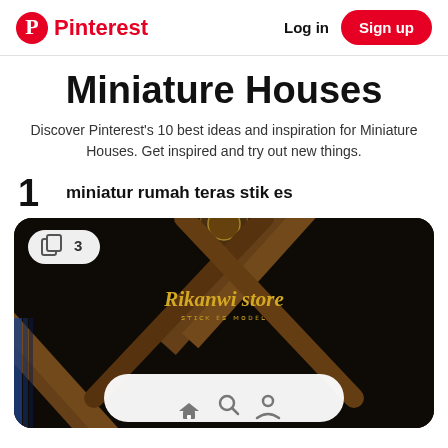Pinterest  Log in  Sign up
Miniature Houses
Discover Pinterest's 10 best ideas and inspiration for Miniature Houses. Get inspired and try out new things.
1  miniatur rumah teras stik es
[Figure (photo): A dark photo of a miniature house made from wooden sticks/ice cream sticks with 'Rikanwi store' text overlay, a badge showing '3' in upper left, and a bottom navigation bar with home, search, and profile icons.]